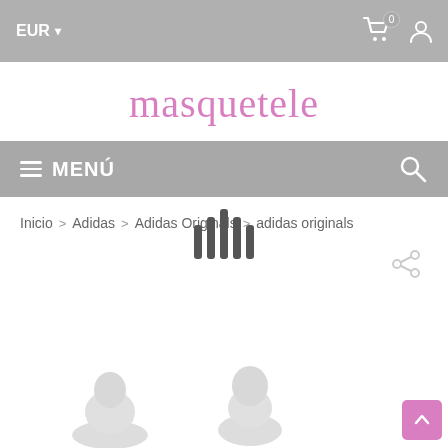EUR ▾   [cart icon 0]   [user icon]
masquetele
≡ MENÚ   🔍
Inicio > Adidas > Adidas Originals > adidas originals
[Figure (other): Loading spinner with 5 vertical bars]
[Figure (other): Share/link icon (chain link symbol) in light gray]
[Figure (other): Partial product images visible at bottom of page (ghosted/light gray silhouettes of toys or figures)]
[Figure (other): Pink 'back to top' arrow button in bottom right corner]